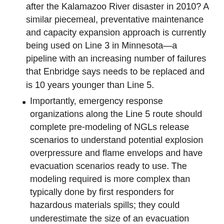after the Kalamazoo River disaster in 2010? A similar piecemeal, preventative maintenance and capacity expansion approach is currently being used on Line 3 in Minnesota—a pipeline with an increasing number of failures that Enbridge says needs to be replaced and is 10 years younger than Line 5.
Importantly, emergency response organizations along the Line 5 route should complete pre-modeling of NGLs release scenarios to understand potential explosion overpressure and flame envelops and have evacuation scenarios ready to use. The modeling required is more complex than typically done by first responders for hazardous materials spills; they could underestimate the size of an evacuation zone.
The State of Michigan regulates gas pipelines but not hazardous liquid pipelines such as Line 5. Why